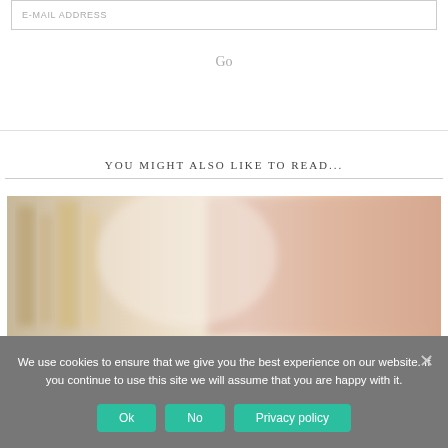E-MAIL ADDRESS
Go
YOU MIGHT ALSO LIKE TO READ...
[Figure (photo): Blurred photo of what appears to be books or wooden objects with a warm pink/cream background.]
We use cookies to ensure that we give you the best experience on our website. If you continue to use this site we will assume that you are happy with it.
Ok
No
Privacy policy